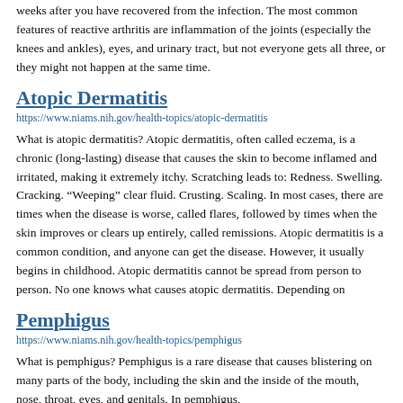weeks after you have recovered from the infection. The most common features of reactive arthritis are inflammation of the joints (especially the knees and ankles), eyes, and urinary tract, but not everyone gets all three, or they might not happen at the same time.
Atopic Dermatitis
https://www.niams.nih.gov/health-topics/atopic-dermatitis
What is atopic dermatitis? Atopic dermatitis, often called eczema, is a chronic (long-lasting) disease that causes the skin to become inflamed and irritated, making it extremely itchy. Scratching leads to: Redness. Swelling. Cracking. “Weeping” clear fluid. Crusting. Scaling. In most cases, there are times when the disease is worse, called flares, followed by times when the skin improves or clears up entirely, called remissions. Atopic dermatitis is a common condition, and anyone can get the disease. However, it usually begins in childhood. Atopic dermatitis cannot be spread from person to person. No one knows what causes atopic dermatitis. Depending on
Pemphigus
https://www.niams.nih.gov/health-topics/pemphigus
What is pemphigus? Pemphigus is a rare disease that causes blistering on many parts of the body, including the skin and the inside of the mouth, nose, throat, eyes, and genitals. In pemphigus,